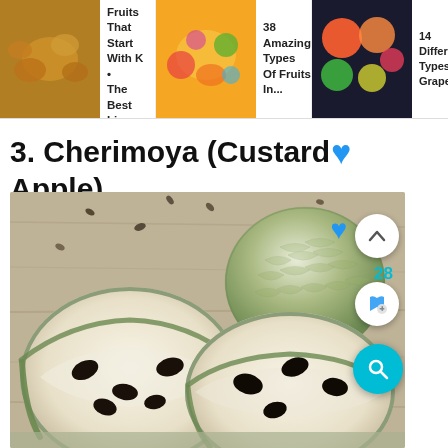22 Fruits That Start With K • The Best Lis... | 38 Amazing Types Of Fruits In... | 14 Different Types Of Grapefruit
3. Cherimoya (Custard Apple)
[Figure (photo): Close-up photo of cherimoya (custard apple) fruits — two halves cut open showing white flesh with black seeds, and a whole cherimoya in background, on a wooden surface with scattered seeds]